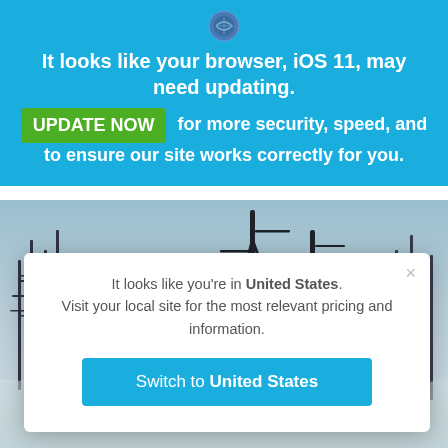[Figure (logo): Small circular shield/badge logo icon]
It looks like your browser, iOS 11, may need updating.
UPDATE NOW  for more security, speed, and to ensure our site works correctly for you.
[Figure (photo): Winter outdoor photo showing bare trees silhouetted against a light grey-blue sky with snow on ground]
It looks like you're in United States. Visit your local site for the most relevant pricing and information.
Switch to United States